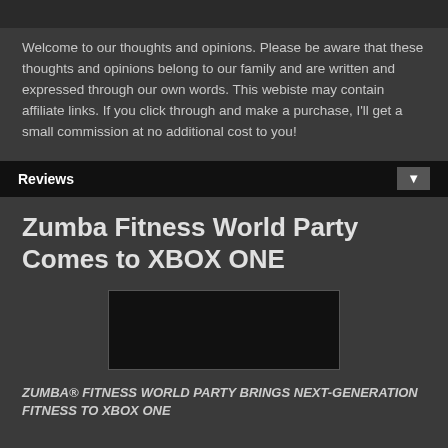Welcome to our thoughts and opinions. Please be aware that these thoughts and opinions belong to our family and are written and expressed through our own words. This webiste may contain affiliate links. If you click through and make a purchase, I'll get a small commission at no additional cost to you!
Reviews
Zumba Fitness World Party Comes to XBOX ONE
[Figure (photo): Dark rectangular image placeholder for Zumba Fitness World Party XBOX ONE]
ZUMBA® FITNESS WORLD PARTY BRINGS NEXT-GENERATION FITNESS TO XBOX ONE